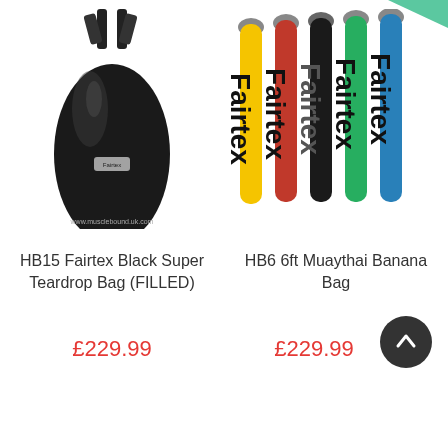[Figure (photo): Black Fairtex HB15 teardrop punching bag with straps, product photo on white background with watermark www.musclebound.uk.com]
[Figure (photo): Five Fairtex banana bags in yellow, red, black, green, and blue colors standing side by side, with a green tooltip/arrow shape at top right corner]
HB15 Fairtex Black Super Teardrop Bag (FILLED)
HB6 6ft Muaythai Banana Bag
£229.99
£229.99